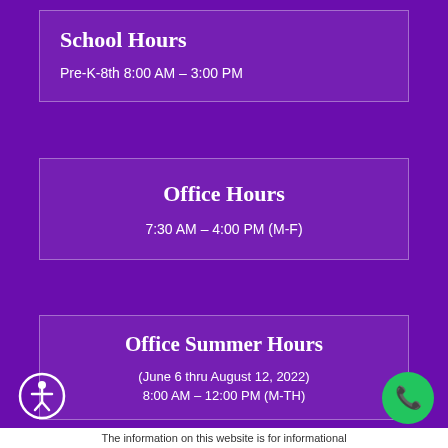School Hours
Pre-K-8th 8:00 AM – 3:00 PM
Office Hours
7:30 AM – 4:00 PM (M-F)
Office Summer Hours
(June 6 thru August 12, 2022)
8:00 AM – 12:00 PM (M-TH)
The information on this website is for informational